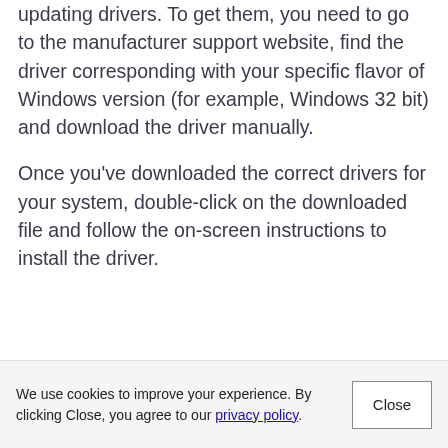updating drivers. To get them, you need to go to the manufacturer support website, find the driver corresponding with your specific flavor of Windows version (for example, Windows 32 bit) and download the driver manually.
Once you've downloaded the correct drivers for your system, double-click on the downloaded file and follow the on-screen instructions to install the driver.
We use cookies to improve your experience. By clicking Close, you agree to our privacy policy.